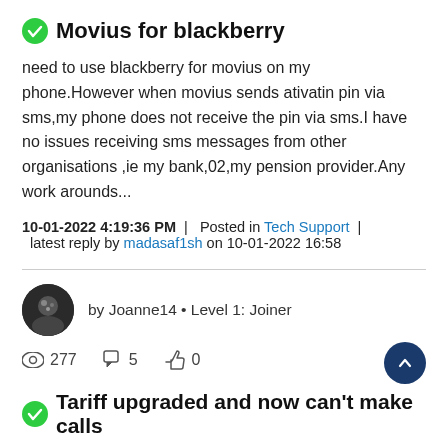Movius for blackberry
need to use blackberry for movius on my phone.However when movius sends ativatin pin via sms,my phone does not receive the pin via sms.I have no issues receiving sms messages from other organisations ,ie my bank,02,my pension provider.Any work arounds...
10-01-2022 4:19:36 PM  |  Posted in Tech Support  |  latest reply by madasaf1sh on 10-01-2022 16:58
by Joanne14 • Level 1: Joiner
277  5  0
Tariff upgraded and now can't make calls